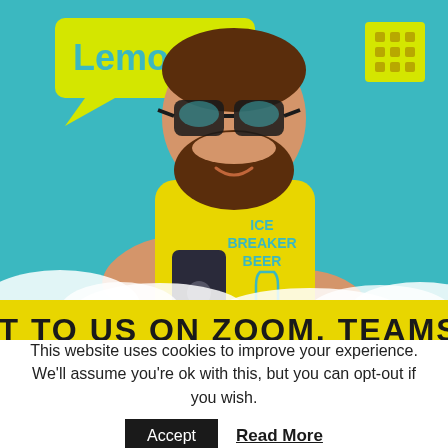[Figure (illustration): Cartoon illustration of a bearded man wearing glasses and a yellow t-shirt that reads 'ICE BREAKER BEER' with a bottle graphic, holding a smartphone. He stands against a teal/turquoise sky with white cloud shapes at the bottom. Top-left has a yellow speech bubble with 'LemonTop' text in teal. Top-right has a yellow grid/dots icon.]
CHAT TO US ON ZOOM, TEAMS OR
This website uses cookies to improve your experience. We'll assume you're ok with this, but you can opt-out if you wish.